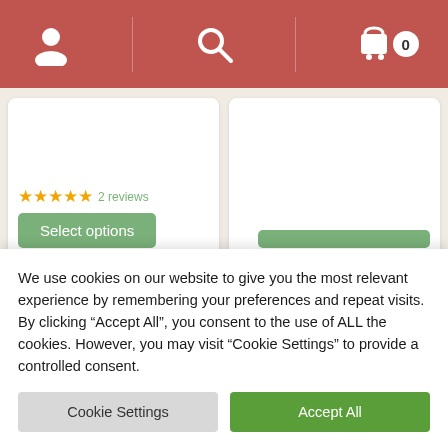[Figure (screenshot): Website navigation bar with user icon, search icon, and shopping cart icon with badge showing 0]
[Figure (screenshot): Product card with star ratings and Select options button]
[Figure (screenshot): Product card with add to cart button]
[Figure (photo): Pile of dark loose leaf green tea on white background]
[Figure (photo): Pile of light green loose leaf tea on white background]
We use cookies on our website to give you the most relevant experience by remembering your preferences and repeat visits. By clicking “Accept All”, you consent to the use of ALL the cookies. However, you may visit “Cookie Settings” to provide a controlled consent.